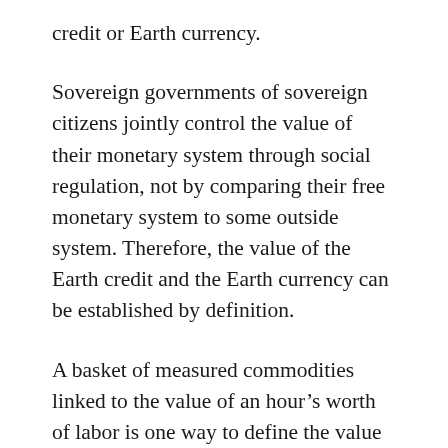credit or Earth currency.
Sovereign governments of sovereign citizens jointly control the value of their monetary system through social regulation, not by comparing their free monetary system to some outside system. Therefore, the value of the Earth credit and the Earth currency can be established by definition.
A basket of measured commodities linked to the value of an hour's worth of labor is one way to define the value of a monetary system's unit. The selection of items for the basket is somewhat arbitrary, but one can select items that any human being is likely to consume if the particular resources are available. Once